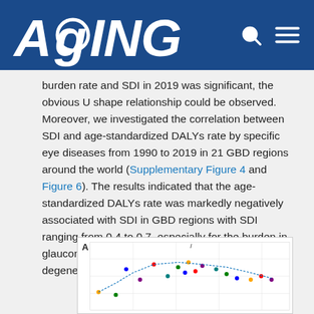AGING
burden rate and SDI in 2019 was significant, the obvious U shape relationship could be observed. Moreover, we investigated the correlation between SDI and age-standardized DALYs rate by specific eye diseases from 1990 to 2019 in 21 GBD regions around the world (Supplementary Figure 4 and Figure 6). The results indicated that the age-standardized DALYs rate was markedly negatively associated with SDI in GBD regions with SDI ranging from 0.4 to 0.7, especially for the burden in glaucoma, cataract, age-related macular degeneration and other vision loss.
[Figure (continuous-plot): Partial view of a scatter/line chart (Figure 6) showing correlation between SDI and age-standardized DALYs rate for specific eye diseases across GBD regions, labeled A at top left, with colored data points and lines.]